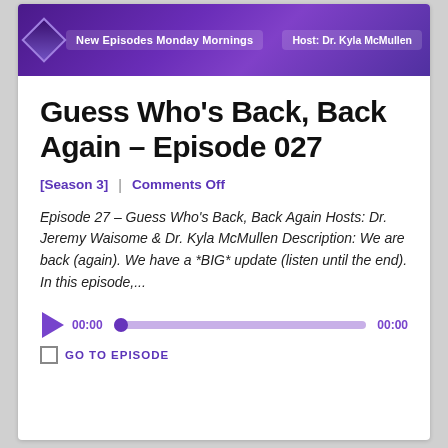[Figure (screenshot): Podcast banner with purple gradient background, diamond logo icon, text 'New Episodes Monday Mornings' on left, 'Host: Dr. Kyla McMullen' on right, with a person visible on the far right]
Guess Who's Back, Back Again – Episode 027
[Season 3]   |   Comments Off
Episode 27 – Guess Who's Back, Back Again Hosts: Dr. Jeremy Waisome & Dr. Kyla McMullen Description: We are back (again). We have a *BIG* update (listen until the end). In this episode,...
[Figure (screenshot): Audio player with purple play button, time display 00:00, progress bar in purple/lavender, end time 00:00, and GO TO EPISODE button with checkbox]